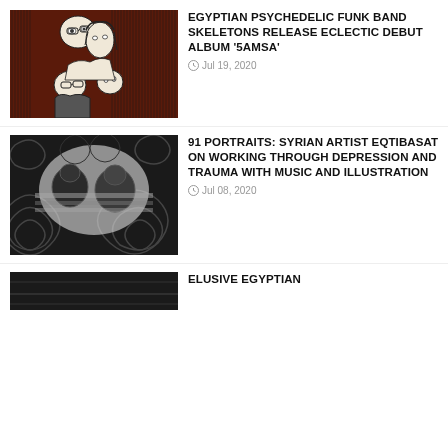[Figure (illustration): Illustrated drawing of multiple faces/people, black and white with dark brown/maroon background, hatched pattern style]
EGYPTIAN PSYCHEDELIC FUNK BAND SKELETONS RELEASE ECLECTIC DEBUT ALBUM '5AMSA'
Jul 19, 2020
[Figure (photo): Black and white photograph with swirling psychedelic patterns, showing figures with distorted imagery]
91 PORTRAITS: SYRIAN ARTIST EQTIBASAT ON WORKING THROUGH DEPRESSION AND TRAUMA WITH MUSIC AND ILLUSTRATION
Jul 08, 2020
[Figure (photo): Dark/black and white photo, partially visible at bottom of page]
ELUSIVE EGYPTIAN